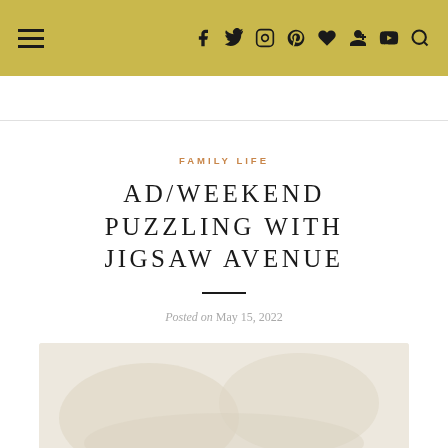Navigation bar with hamburger menu and social icons: f, Twitter, Instagram, Pinterest, Heart, Google+, YouTube, Search
FAMILY LIFE
AD/WEEKEND PUZZLING WITH JIGSAW AVENUE
Posted on May 15, 2022
[Figure (photo): Partially visible photo placeholder below the post date]